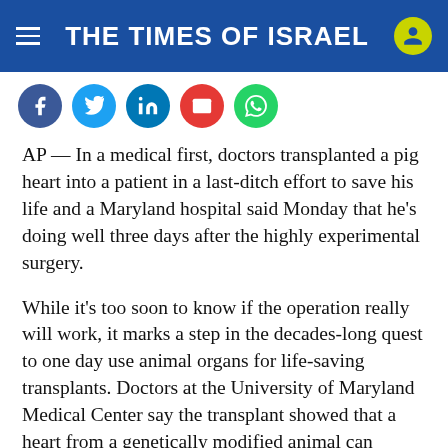THE TIMES OF ISRAEL
[Figure (other): Social sharing icons row: Facebook, Twitter, LinkedIn, Email, WhatsApp]
AP — In a medical first, doctors transplanted a pig heart into a patient in a last-ditch effort to save his life and a Maryland hospital said Monday that he’s doing well three days after the highly experimental surgery.
While it’s too soon to know if the operation really will work, it marks a step in the decades-long quest to one day use animal organs for life-saving transplants. Doctors at the University of Maryland Medical Center say the transplant showed that a heart from a genetically modified animal can function in the human body without immediate rejection.